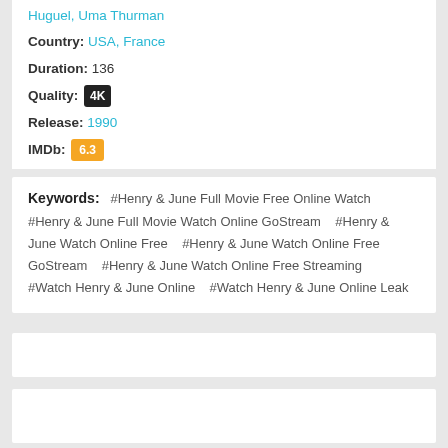Huguel, Uma Thurman
Country: USA, France
Duration: 136
Quality: 4K
Release: 1990
IMDb: 6.3
Keywords: #Henry & June Full Movie Free Online Watch #Henry & June Full Movie Watch Online GoStream #Henry & June Watch Online Free #Henry & June Watch Online Free GoStream #Henry & June Watch Online Free Streaming #Watch Henry & June Online #Watch Henry & June Online Leak
[Figure (other): Advertisement banner placeholder (white box)]
[Figure (other): Advertisement banner placeholder (white box)]
You May Also Like
[Figure (other): Movie thumbnail with IMDb badge]